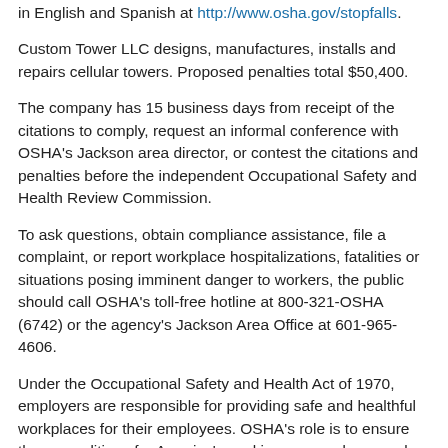in English and Spanish at http://www.osha.gov/stopfalls.
Custom Tower LLC designs, manufactures, installs and repairs cellular towers. Proposed penalties total $50,400.
The company has 15 business days from receipt of the citations to comply, request an informal conference with OSHA's Jackson area director, or contest the citations and penalties before the independent Occupational Safety and Health Review Commission.
To ask questions, obtain compliance assistance, file a complaint, or report workplace hospitalizations, fatalities or situations posing imminent danger to workers, the public should call OSHA's toll-free hotline at 800-321-OSHA (6742) or the agency's Jackson Area Office at 601-965-4606.
Under the Occupational Safety and Health Act of 1970, employers are responsible for providing safe and healthful workplaces for their employees. OSHA's role is to ensure these conditions for America's working men and women by setting and enforcing standards, and providing training, education and assistance. For more information, visit http://www.osha.gov.
###